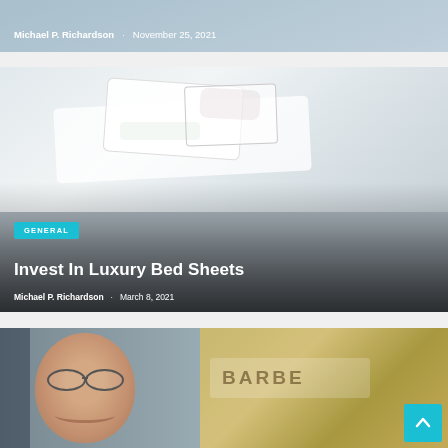[Figure (photo): Partial top card showing author and date overlay on a blurred background image]
Michael P. Richardson   November 25, 2021
[Figure (photo): Luxury white bed sheets with floral embroidery on pillows and bedding, with GENERAL tag, article title, author and date overlaid]
GENERAL
Invest In Luxury Bed Sheets
Michael P. Richardson   March 8, 2021
[Figure (photo): Older man smiling with glasses on the left, barber shop sign on the right]